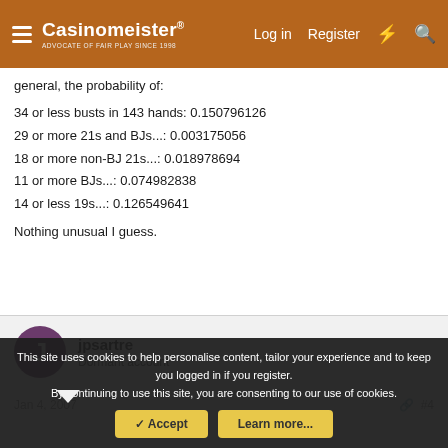Casinomeister — Log in  Register
general, the probability of:
34 or less busts in 143 hands: 0.150796126
29 or more 21s and BJs...: 0.003175056
18 or more non-BJ 21s...: 0.018978694
11 or more BJs...: 0.074982838
14 or less 19s...: 0.126549641
Nothing unusual I guess.
jpsartre
Dormant account
Jan 4, 2007  #4
This site uses cookies to help personalise content, tailor your experience and to keep you logged in if you register.
By continuing to use this site, you are consenting to our use of cookies.